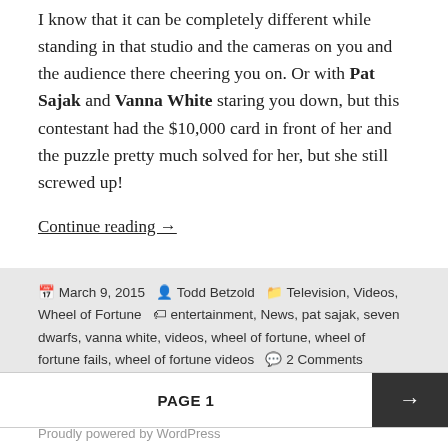I know that it can be completely different while standing in that studio and the cameras on you and the audience there cheering you on. Or with Pat Sajak and Vanna White staring you down, but this contestant had the $10,000 card in front of her and the puzzle pretty much solved for her, but she still screwed up!
Continue reading →
March 9, 2015 Todd Betzold Television, Videos, Wheel of Fortune entertainment, News, pat sajak, seven dwarfs, vanna white, videos, wheel of fortune, wheel of fortune fails, wheel of fortune videos 2 Comments
PAGE 1
Proudly powered by WordPress